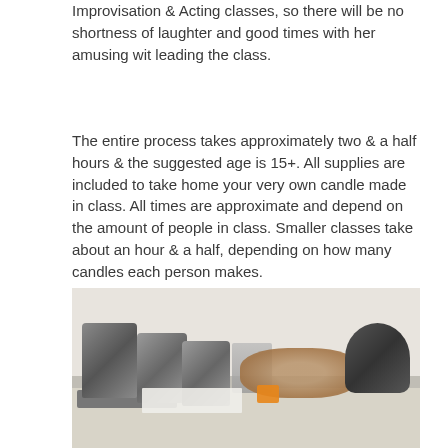Improvisation & Acting classes, so there will be no shortness of laughter and good times with her amusing wit leading the class.
The entire process takes approximately two & a half hours & the suggested age is 15+.  All supplies are included to take home your very own candle made in class.  All times are approximate and depend on the amount of people in class. Smaller classes take about an hour & a half, depending on how many candles each person makes.
[Figure (photo): Photo of a craft table set up with metal pouring pitchers, a black fondue-style melting pot, organic dried materials and pinecones, a small orange price tag, and various candle-making supplies laid out on a long table.]